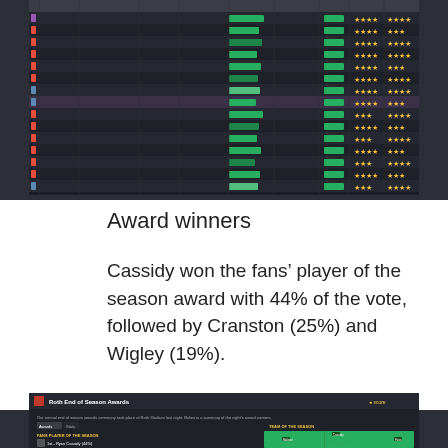[Figure (screenshot): Football Manager style player statistics spreadsheet with dark background, green highlighted bars, and star ratings]
Award winners
Cassidy won the fans’ player of the season award with 44% of the vote, followed by Cranston (25%) and Wigley (19%).
[Figure (screenshot): Football Manager end of season awards screen showing Roth End of Season Awards with fans player of the season (Ryan Cassidy 44%) and goal of the season (Glen Cranston), plus a team of the season pitch view on the right]